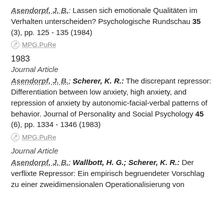Asendorpf, J. B.: Lassen sich emotionale Qualitäten im Verhalten unterscheiden? Psychologische Rundschau 35 (3), pp. 125 - 135 (1984)
MPG.PuRe
1983
Journal Article
Asendorpf, J. B.; Scherer, K. R.: The discrepant repressor: Differentiation between low anxiety, high anxiety, and repression of anxiety by autonomic-facial-verbal patterns of behavior. Journal of Personality and Social Psychology 45 (6), pp. 1334 - 1346 (1983)
MPG.PuRe
Journal Article
Asendorpf, J. B.; Wallbott, H. G.; Scherer, K. R.: Der verflixte Repressor: Ein empirisch begruendeter Vorschlag zu einer zweidimensionalen Operationalisierung von